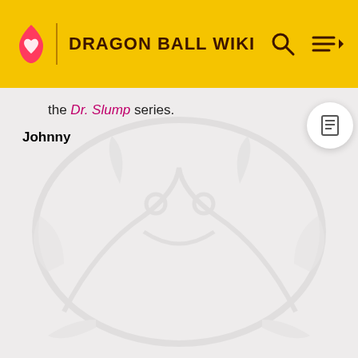DRAGON BALL WIKI
the Dr. Slump series.
Johnny
[Figure (illustration): Faint watermark-style illustration of a dragon character covering the content area background]